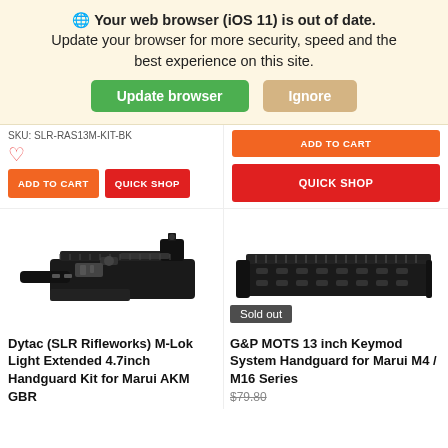🌐 Your web browser (iOS 11) is out of date. Update your browser for more security, speed and the best experience on this site.
Update browser | Ignore
SKU: SLR-RAS13M-KIT-BK
ADD TO CART
QUICK SHOP
ADD TO CART
QUICK SHOP
[Figure (photo): Dytac SLR Rifleworks M-Lok Light Extended 4.7inch handguard kit product photo on white background]
Dytac (SLR Rifleworks) M-Lok Light Extended 4.7inch Handguard Kit for Marui AKM GBR
[Figure (photo): G&P MOTS 13 inch Keymod System Handguard product photo on white background with Sold out badge]
Sold out
G&P MOTS 13 inch Keymod System Handguard for Marui M4 / M16 Series
$79.80